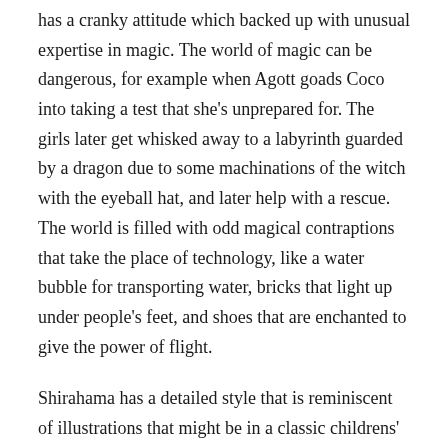has a cranky attitude which backed up with unusual expertise in magic. The world of magic can be dangerous, for example when Agott goads Coco into taking a test that she's unprepared for. The girls later get whisked away to a labyrinth guarded by a dragon due to some machinations of the witch with the eyeball hat, and later help with a rescue. The world is filled with odd magical contraptions that take the place of technology, like a water bubble for transporting water, bricks that light up under people's feet, and shoes that are enchanted to give the power of flight.
Shirahama has a detailed style that is reminiscent of illustrations that might be in a classic childrens' book. Panels are occasionally decorated with botanical motifs, with a nod to art nouveau. The various costumes of the witches have elaborate decoration, and spells look intricate, causing effects that look both elegant and unnatural. The worldbuilding and illustrations are lovely,